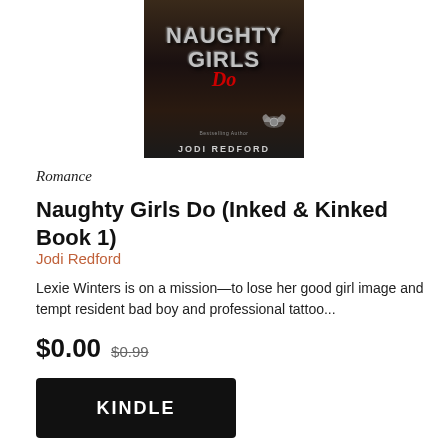[Figure (illustration): Book cover for 'Naughty Girls Do (Inked & Kinked Book 1)' by Jodi Redford. Dark cover showing a shirtless muscular man with tattoos, metallic stylized title text 'NAUGHTY GIRLS Do' with 'Do' in red script, author name 'JODI REDFORD' at the bottom.]
Romance
Naughty Girls Do (Inked & Kinked Book 1)
Jodi Redford
Lexie Winters is on a mission—to lose her good girl image and tempt resident bad boy and professional tattoo...
$0.00  $0.99
KINDLE